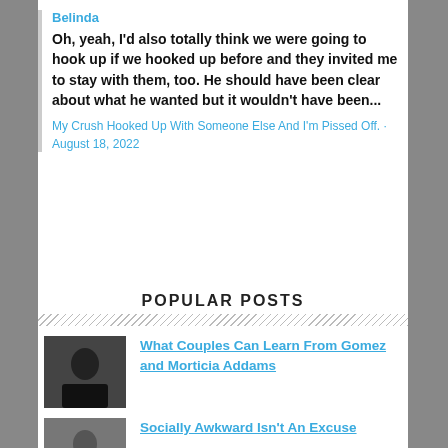Belinda
Oh, yeah, I'd also totally think we were going to hook up if we hooked up before and they invited me to stay with them, too. He should have been clear about what he wanted but it wouldn't have been...
My Crush Hooked Up With Someone Else And I'm Pissed Off. · August 18, 2022
POPULAR POSTS
What Couples Can Learn From Gomez and Morticia Addams
Socially Awkward Isn't An Excuse